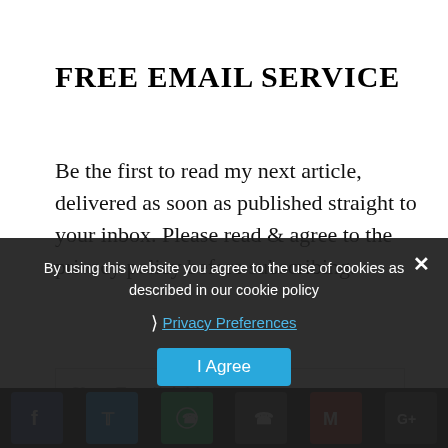FREE EMAIL SERVICE
Be the first to read my next article, delivered as soon as published straight to your inbox. Please read & agree to the privacy policy before subscribing.
[Figure (screenshot): Email address input field with placeholder text 'Your Email Address']
By using this website you agree to the use of cookies as described in our cookie policy
Privacy Preferences
I Agree